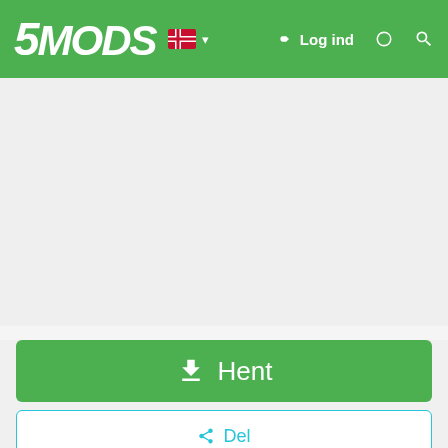5MODS — Log ind
[Figure (screenshot): Blank/ad placeholder area]
Hent
Del
[Figure (photo): Aircraft tail with yellow-green L sign on white fuselage, blue sky background]
Datura Stramonium